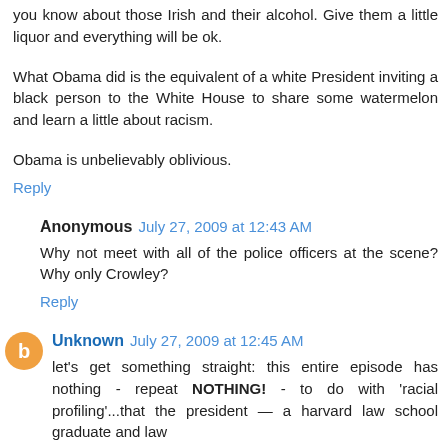you know about those Irish and their alcohol. Give them a little liquor and everything will be ok.
What Obama did is the equivalent of a white President inviting a black person to the White House to share some watermelon and learn a little about racism.
Obama is unbelievably oblivious.
Reply
Anonymous July 27, 2009 at 12:43 AM
Why not meet with all of the police officers at the scene? Why only Crowley?
Reply
Unknown July 27, 2009 at 12:45 AM
let's get something straight: this entire episode has nothing - repeat NOTHING! - to do with 'racial profiling'...that the president — a harvard law school graduate and law